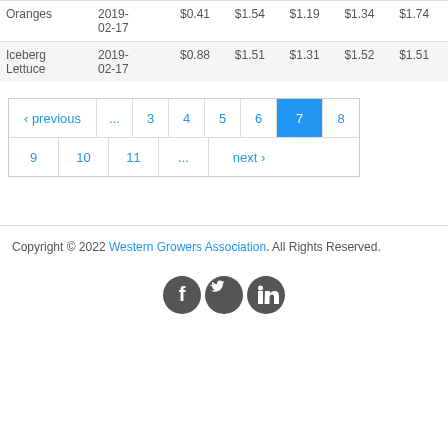| Oranges | 2019-02-17 | $0.41 | $1.54 | $1.19 | $1.34 | $1.74 |
| Iceberg Lettuce | 2019-02-17 | $0.88 | $1.51 | $1.31 | $1.52 | $1.51 |
‹ previous … 3 4 5 6 7 8 9 10 11 … next ›
Copyright © 2022 Western Growers Association. All Rights Reserved.
[Figure (other): Social media icons: Facebook, Twitter, LinkedIn]